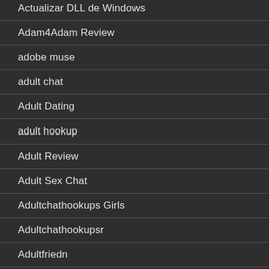Actualizar DLL de Windows
Adam4Adam Review
adobe muse
adult chat
Adult Dating
adult hookup
Adult Review
Adult Sex Chat
Adultchathookups Girls
Adultchathookupsr
Adultfriedn
Adultfriendfind...